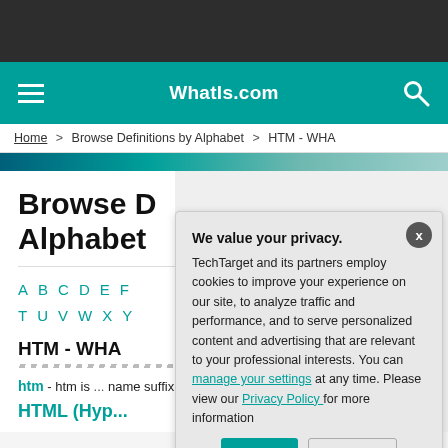WhatIs.com
Home > Browse Definitions by Alphabet > HTM - WHA
Browse Definitions by Alphabet
A B C D E F ... T U V W X Y ...
HTM - WHA
htm - htm is ... name suffix fo...
HTML (Hyp...
We value your privacy. TechTarget and its partners employ cookies to improve your experience on our site, to analyze traffic and performance, and to serve personalized content and advertising that are relevant to your professional interests. You can manage your settings at any time. Please view our Privacy Policy for more information